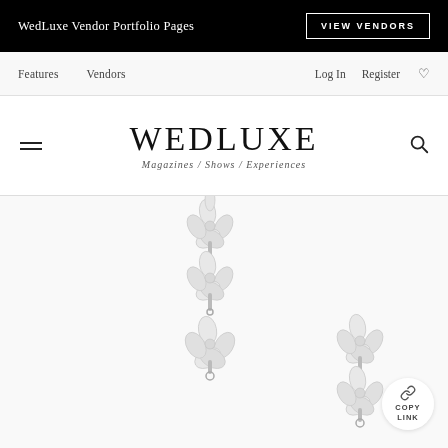WedLuxe Vendor Portfolio Pages
VIEW VENDORS
Features   Vendors   Log In   Register
WEDLUXE
Magazines / Shows / Experiences
[Figure (photo): Two crystal/rhinestone drop earrings with floral cluster tops on white background]
COPY LINK